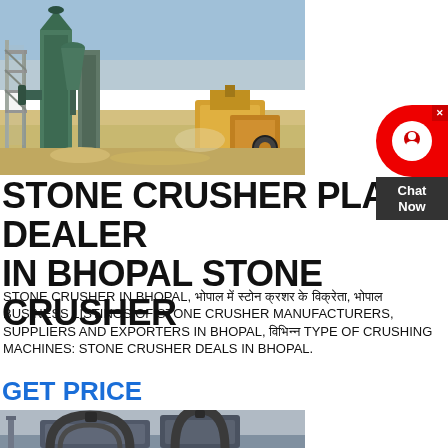[Figure (photo): Industrial stone crusher plant with green silos, scaffolding, machinery, and yellow equipment at a quarry site with sandy/chalky ground]
STONE CRUSHER PLANT DEALER IN BHOPAL STONE CRUSHER
STONE CRUSHER IN BHOPAL, भोपाल में स्टोन क्रशर के विक्रेता, भोपाल BUSINESS LISTINGS OF STONE CRUSHER MANUFACTURERS, SUPPLIERS AND EXPORTERS IN BHOPAL, विभिन्न TYPE OF CRUSHING MACHINES: STONE CRUSHER DEALS IN BHOPAL.
GET PRICE
[Figure (photo): Industrial stone crushing machine with curved pipes and dark metal components against a grey sky]